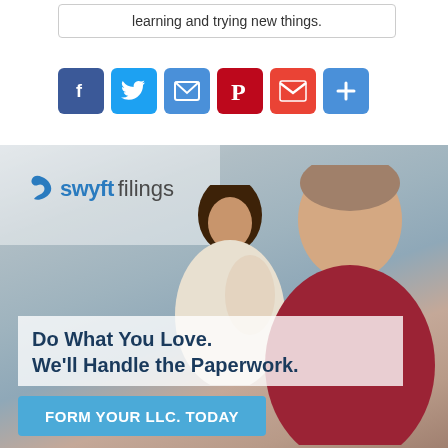learning and trying new things.
[Figure (infographic): Social sharing buttons row: Facebook (blue), Twitter (light blue), Email (blue envelope), Pinterest (red), Gmail (red M), More/Plus (blue)]
[Figure (infographic): Swyft Filings advertisement banner. Background photo of two smiling business owners (a woman with curly hair in a white jacket and a man in a red henley) in what appears to be a cafe. Swyft Filings logo (blue S icon + 'swyft' bold + 'filings' light) in upper left. Tagline text: 'Do What You Love. We'll Handle the Paperwork.' Call-to-action button: 'FORM YOUR LLC. TODAY']